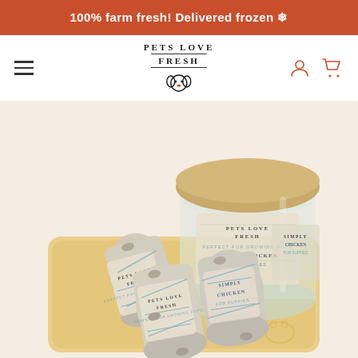100% farm fresh! Delivered frozen ❄
[Figure (logo): Pets Love Fresh logo with dog face icon and horizontal rules, flanked by hamburger menu on left and user/cart icons on right]
[Figure (photo): Product photo showing Pets Love Fresh Simply Chicken for Puppies frozen dog food rolls on a wooden cutting board and in a glass cylindrical container with bamboo lid, on a warm cream background]